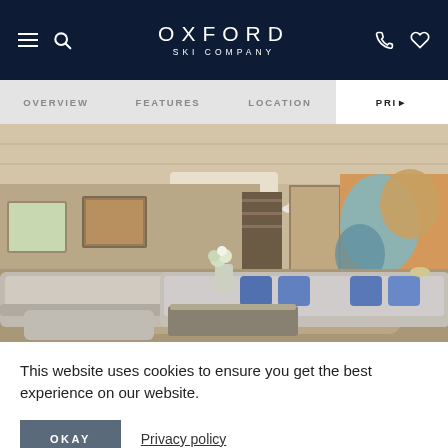OXFORD SKI COMPANY
OVERVIEW   FEATURES   LOCATION   PRICING
[Figure (photo): Luxury ski chalet living room interior with grey sofas, blue cushions, white flowers on a coffee table, and a large colorful artwork on the right wall. Light wood paneled ceiling and warm lighting throughout.]
This website uses cookies to ensure you get the best experience on our website.
OKAY   Privacy policy